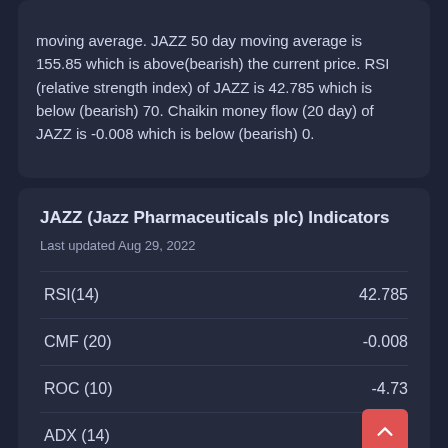moving average. JAZZ 50 day moving average is 155.85 which is above(bearish) the current price. RSI (relative strength index) of JAZZ is 42.785 which is below (bearish) 70. Chaikin money flow (20 day) of JAZZ is -0.008 which is below (bearish) 0.
JAZZ (Jazz Pharmaceuticals plc) Indicators
Last updated Aug 29, 2022
| Indicator | Value |
| --- | --- |
| RSI(14) | 42.785 |
| CMF (20) | -0.008 |
| ROC (10) | -4.73 |
| ADX (14) | 16.7 |